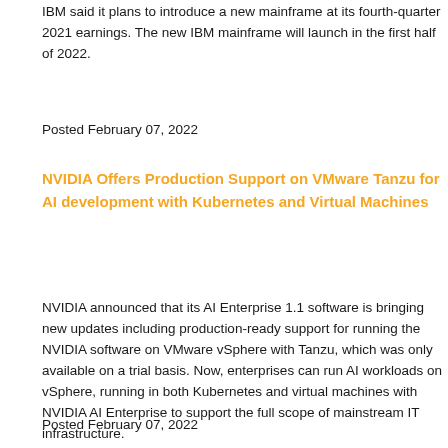IBM said it plans to introduce a new mainframe at its fourth-quarter 2021 earnings. The new IBM mainframe will launch in the first half of 2022.
Posted February 07, 2022
NVIDIA Offers Production Support on VMware Tanzu for AI development with Kubernetes and Virtual Machines
NVIDIA announced that its AI Enterprise 1.1 software is bringing new updates including production-ready support for running the NVIDIA software on VMware vSphere with Tanzu, which was only available on a trial basis. Now, enterprises can run AI workloads on vSphere, running in both Kubernetes and virtual machines with NVIDIA AI Enterprise to support the full scope of mainstream IT infrastructure.
Posted February 07, 2022